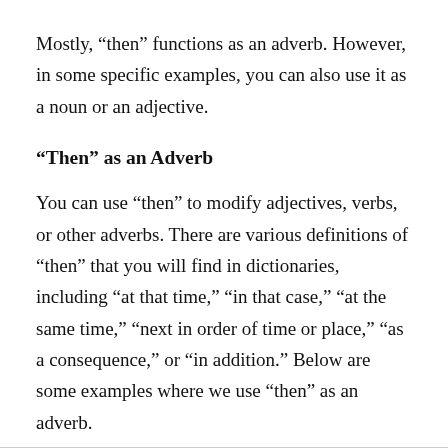Mostly, “then” functions as an adverb. However, in some specific examples, you can also use it as a noun or an adjective.
“Then” as an Adverb
You can use “then” to modify adjectives, verbs, or other adverbs. There are various definitions of “then” that you will find in dictionaries, including “at that time,” “in that case,” “at the same time,” “next in order of time or place,” “as a consequence,” or “in addition.” Below are some examples where we use “then” as an adverb.